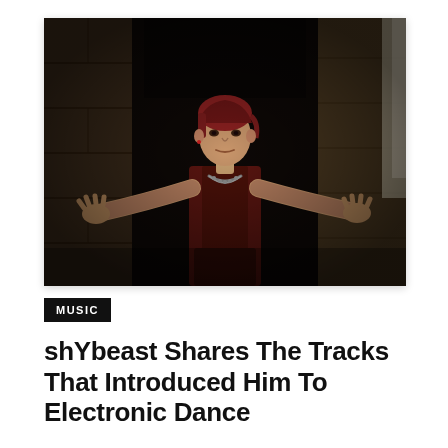[Figure (photo): A young man with reddish hair wearing a dark red sleeveless top and a chain necklace, standing in a dimly lit corridor with stone/brick walls, arms spread out touching the walls on both sides.]
MUSIC
shYbeast Shares The Tracks That Introduced Him To Electronic Dance